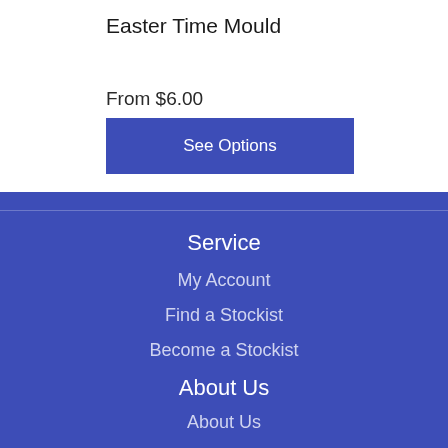Easter Time Mould
From $6.00
See Options
Service
My Account
Find a Stockist
Become a Stockist
About Us
About Us